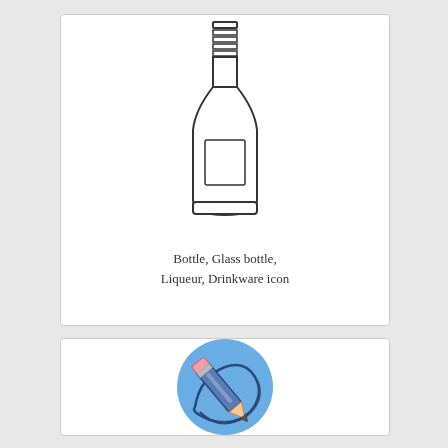[Figure (illustration): Line art icon of a glass bottle (liqueur bottle) with horizontal lines on the neck and a rectangular label on the body. Outline style, no fill.]
Bottle, Glass bottle, Liqueur, Drinkware icon
[Figure (illustration): Colorful icon of a pencil with a blue swoosh/orbit line around it, set on a circular light blue background. The pencil is dark blue with a peach/orange tip and pink eraser.]